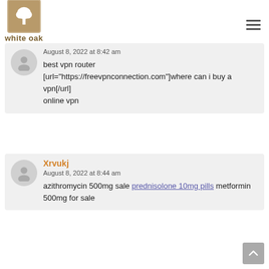[Figure (logo): White Oak Dental logo with tree icon in tan/brown square and text 'white oak DENTAL']
August 8, 2022 at 8:42 am
best vpn router
[url="https://freevpnconnection.com"]where can i buy a vpn[/url]
online vpn
Xrvukj
August 8, 2022 at 8:44 am
azithromycin 500mg sale prednisolone 10mg pills metformin 500mg for sale